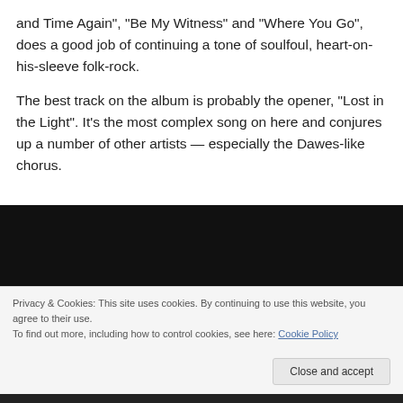and Time Again", “Be My Witness” and “Where You Go”, does a good job of continuing a tone of soulfoul, heart-on-his-sleeve folk-rock.
The best track on the album is probably the opener, “Lost in the Light”. It’s the most complex song on here and conjures up a number of other artists — especially the Dawes-like chorus.
[Figure (other): Embedded video player with black background]
Privacy & Cookies: This site uses cookies. By continuing to use this website, you agree to their use.
To find out more, including how to control cookies, see here: Cookie Policy
Close and accept